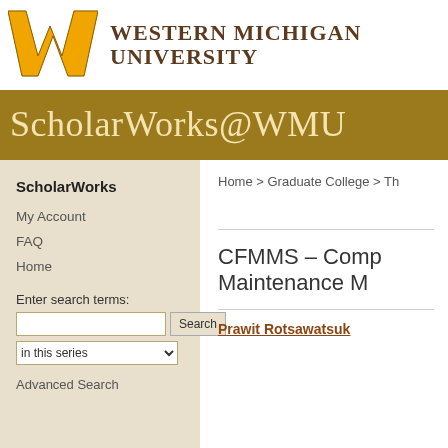[Figure (logo): Western Michigan University gold W logo]
Western Michigan University
ScholarWorks@WMU
Home > Graduate College > Th
ScholarWorks
My Account
FAQ
Home
Enter search terms:
in this series
Advanced Search
CFMMS – Comp Maintenance M
Prawit Rotsawatsuk